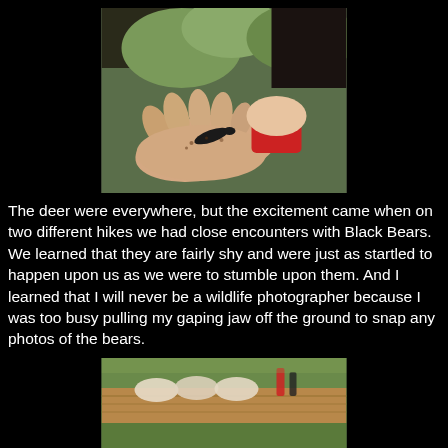[Figure (photo): Close-up photo of two hands cupped together, one adult hand and one child's hand wearing a red sleeve, holding a small dark creature (salamander or newt) with soil/dirt visible on the palms. Outdoor nature setting with green foliage blurred in background.]
The deer were everywhere, but the excitement came when on two different hikes we had close encounters with Black Bears. We learned that they are fairly shy and were just as startled to happen upon us as we were to stumble upon them. And I learned that I will never be a wildlife photographer because I was too busy pulling my gaping jaw off the ground to snap any photos of the bears.
[Figure (photo): Partial photo of a wooden picnic table outdoors with food items (buns or bread rolls) laid out, and condiment bottles, on a green grassy background. Photo is cropped at bottom of page.]